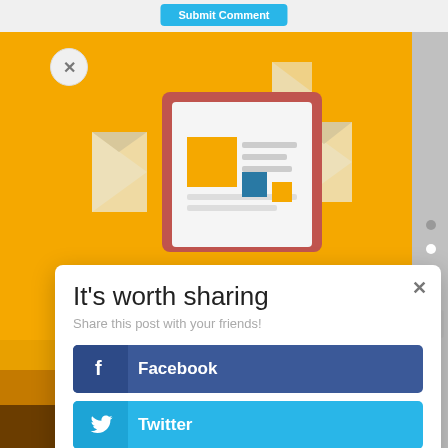[Figure (screenshot): Social sharing modal popup with buttons for Facebook, Twitter, LinkedIn, and Evernote on a yellow background with a newsletter illustration.]
It's worth sharing
Share this post with your friends!
Facebook
Twitter
LinkedIn
Evernote